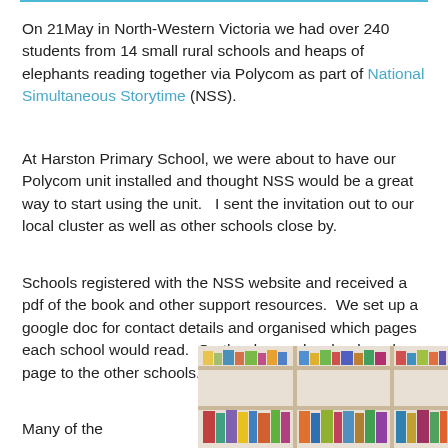On 21May in North-Western Victoria we had over 240 students from 14 small rural schools and heaps of elephants reading together via Polycom as part of National Simultaneous Storytime (NSS).
At Harston Primary School, we were about to have our Polycom unit installed and thought NSS would be a great way to start using the unit.   I sent the invitation out to our local cluster as well as other schools close by.
Schools registered with the NSS website and received a pdf of the book and other support resources.  We set up a google doc for contact details and organised which pages each school would read.  On the day each school read a page to the other schools.
Many of the
[Figure (photo): Photo of a bookshelf filled with colorful books, partially visible at bottom right of the page.]